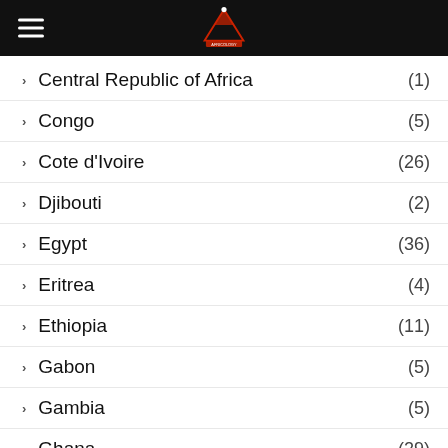Menu / Logo header
Central Republic of Africa (1)
Congo (5)
Cote d'Ivoire (26)
Djibouti (2)
Egypt (36)
Eritrea (4)
Ethiopia (11)
Gabon (5)
Gambia (5)
Ghana (29)
Kenya
Lesotho (4)
Liberia (6)